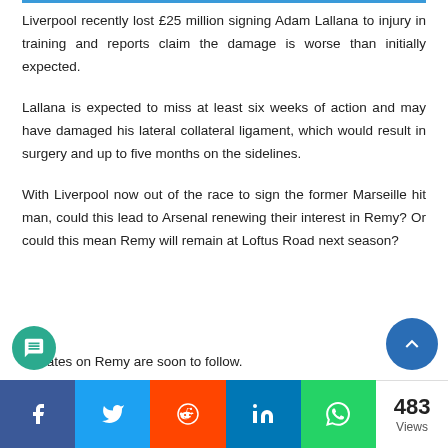Liverpool recently lost £25 million signing Adam Lallana to injury in training and reports claim the damage is worse than initially expected.
Lallana is expected to miss at least six weeks of action and may have damaged his lateral collateral ligament, which would result in surgery and up to five months on the sidelines.
With Liverpool now out of the race to sign the former Marseille hit man, could this lead to Arsenal renewing their interest in Remy? Or could this mean Remy will remain at Loftus Road next season?
Updates on Remy are soon to follow.
483 Views